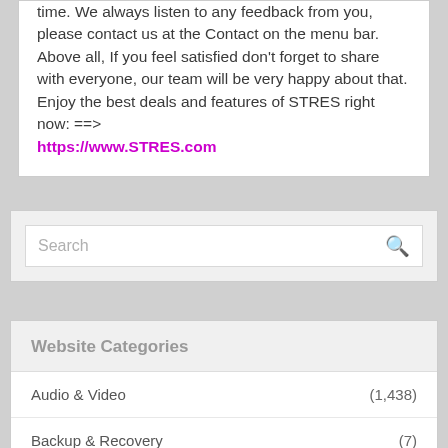time. We always listen to any feedback from you, please contact us at the Contact on the menu bar.
Above all, If you feel satisfied don't forget to share with everyone, our team will be very happy about that.
Enjoy the best deals and features of STRES right now: ==>
https://www.STRES.com
[Figure (screenshot): Search bar widget with placeholder text 'Search' and a search icon on the right]
Website Categories
Audio & Video (1,438)
Backup & Recovery (7)
Business & Finance (784)